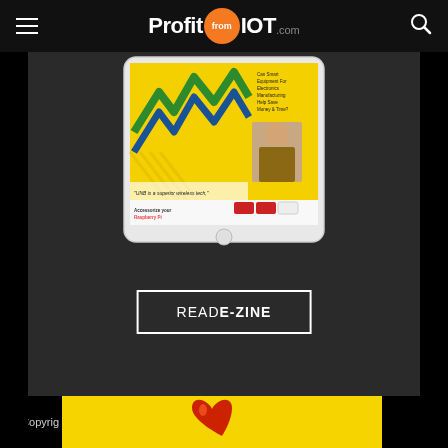ProfitfromIOT.com
[Figure (screenshot): Tablet device showing ProfitfromIOT e-zine with yellow background, lightning bolt graphics, a person's photo, and Raspberry Pi accessories advertisement]
READ E-ZINE
© Copyright
[Figure (photo): Yellow advertisement banner with a red/orange heart icon]